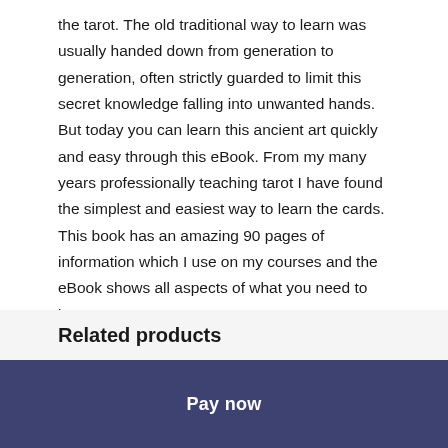the tarot. The old traditional way to learn was usually handed down from generation to generation, often strictly guarded to limit this secret knowledge falling into unwanted hands. But today you can learn this ancient art quickly and easy through this eBook. From my many years professionally teaching tarot I have found the simplest and easiest way to learn the cards. This book has an amazing 90 pages of information which I use on my courses and the eBook shows all aspects of what you need to learn tarot.
Related products
Pay now